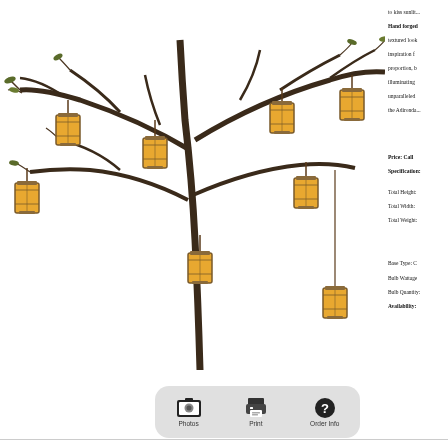[Figure (photo): A large chandelier fixture styled as a tree with dark bronze branches and multiple amber/yellow lantern-style shades hanging from the branches.]
[Figure (infographic): Button bar with three options: Photos (image icon), Print (printer icon), Order Info (question mark icon), on a rounded gray background.]
to kiss sunlit... Hand forged textured look inspiration f proportion, b illuminating unparalleled the Adironda...
Price: Call
Specifications:
Total Height:
Total Width:
Total Weight:
Base Type: C
Bulb Wattage
Bulb Quantity:
Availability: